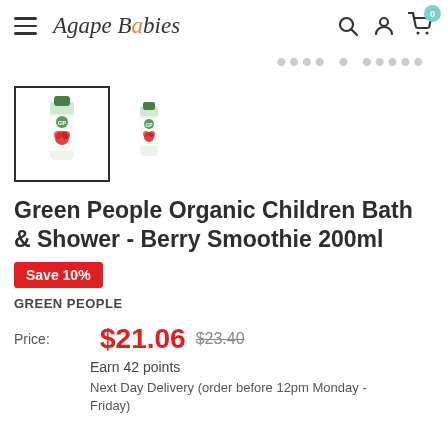Agape Babies — navigation header with hamburger menu, search, account, and cart icons
[Figure (photo): Two product thumbnail images of Green People Organic Children Bath & Shower Berry Smoothie 200ml tubes. The first (selected, with border) shows the product front facing. The second smaller image shows the tube from a different angle.]
Green People Organic Children Bath & Shower - Berry Smoothie 200ml
Save 10%
GREEN PEOPLE
Price: $21.06  $23.40
Earn 42 points
Next Day Delivery (order before 12pm Monday - Friday)